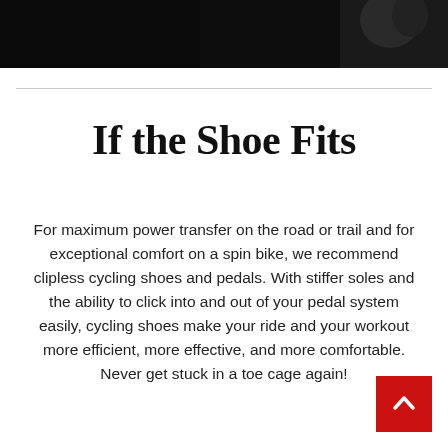[Figure (photo): Dark/black photograph strip at the top of the page, appears to show a person in low light]
If the Shoe Fits
For maximum power transfer on the road or trail and for exceptional comfort on a spin bike, we recommend clipless cycling shoes and pedals. With stiffer soles and the ability to click into and out of your pedal system easily, cycling shoes make your ride and your workout more efficient, more effective, and more comfortable. Never get stuck in a toe cage again!